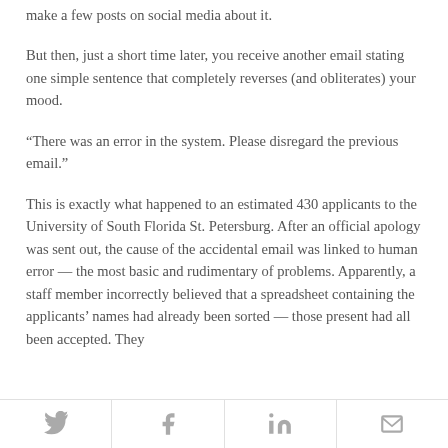make a few posts on social media about it.
But then, just a short time later, you receive another email stating one simple sentence that completely reverses (and obliterates) your mood.
“There was an error in the system. Please disregard the previous email.”
This is exactly what happened to an estimated 430 applicants to the University of South Florida St. Petersburg. After an official apology was sent out, the cause of the accidental email was linked to human error — the most basic and rudimentary of problems. Apparently, a staff member incorrectly believed that a spreadsheet containing the applicants’ names had already been sorted — those present had all been accepted. They
Twitter | Facebook | LinkedIn | Email